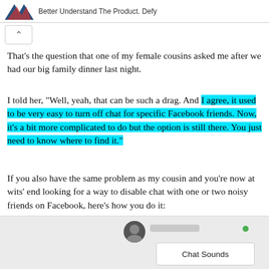Better Understand The Product. Defy
That's the question that one of my female cousins asked me after we had our big family dinner last night.
I told her, "Well, yeah, that can be such a drag. And I agree, it used to be very easy to turn off chat for specific Facebook friends. Now, it's a bit more complicated to do but the option is still there. You just need to know where to find it."
If you also have the same problem as my cousin and you're now at wits' end looking for a way to disable chat with one or two noisy friends on Facebook, here's how you do it:
1. Click on the Settings or Cog icon at the bottom of your Messenger chat box as shown below.
[Figure (screenshot): Screenshot showing a Facebook Messenger chat window with a dropdown menu containing 'Chat Sounds' option, with a blurred user avatar and name, and a green online indicator dot.]